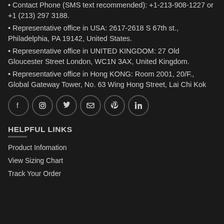• Contact Phone (SMS text recommended): +1-213-908-1227 or +1 (213) 297 3188.
• Representative office in USA: 2617-2618 S 67th st., Philadelphia, PA 19142, United States.
• Representative office in UNITED KINGDOM: 27 Old Gloucester Street London, WC1N 3AX, United Kingdom.
• Representative office in Hong KONG: Room 2001, 20/F., Global Gateway Tower, No. 63 Wing Hong Street, Lai Chi Kok
[Figure (infographic): Six social media icon circles: Facebook, Instagram, Twitter, Email, Pinterest, LinkedIn]
HELPFUL LINKS
Product Infomation
View Sizing Chart
Track Your Order